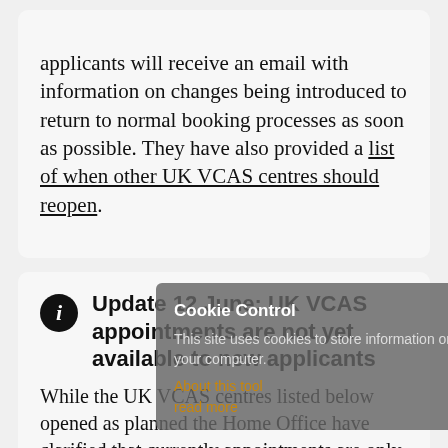applicants will receive an email with information on changes being introduced to return to normal booking processes as soon as possible. They have also provided a list of when other UK VCAS centres should reopen.
Update 12 June: UK VCAS appointments are not yet available to new applicants
While the UK VCAS centres listed below opened as planned the Home Office have clarified that currently appointments are only available to
Cookie Control. This site uses cookies to store information on your computer. About this tool. read more